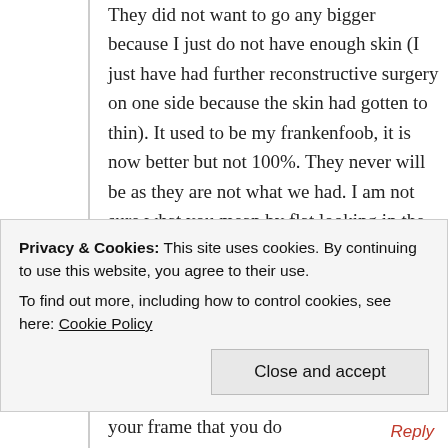They did not want to go any bigger because I just do not have enough skin (I just have had further reconstructive surgery on one side because the skin had gotten to thin). It used to be my frankenfoob, it is now better but not 100%. They never will be as they are not what we had. I am not sure what you mean by flat looking in the front. Can you explain more? Most every BC sister I know has had the implants behind the muscle, I presumed it was the only way it could be done. You will never, no matter the size, get the protrusion you had with natural breasts. Be careful, on your frame that you do
Privacy & Cookies: This site uses cookies. By continuing to use this website, you agree to their use.
To find out more, including how to control cookies, see here: Cookie Policy
Close and accept
Reply